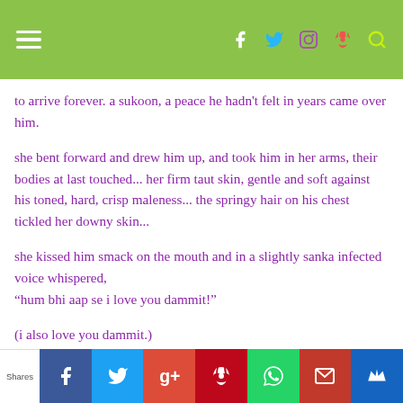Navigation bar with hamburger menu and social icons
to arrive forever. a sukoon, a peace he hadn't felt in years came over him.
she bent forward and drew him up, and took him in her arms, their bodies at last touched... her firm taut skin, gentle and soft against his toned, hard, crisp maleness... the springy hair on his chest tickled her downy skin...
she kissed him smack on the mouth and in a slightly sanka infected voice whispered, “hum bhi aap se i love you dammit!”
(i also love you dammit.)
Shares — social share bar: Facebook, Twitter, Google+, Pinterest, WhatsApp, Mail, Bookmark